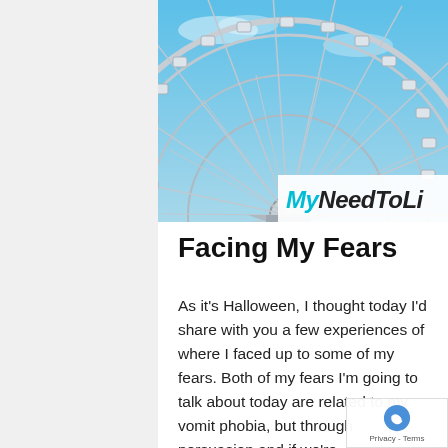[Figure (photo): A Ferris wheel photographed from below against a bright blue sky. The white metal structure fills most of the frame with gondola cars visible around the rim. A logo badge in the bottom-right corner reads 'MyNeedToLi' in italic text.]
Facing My Fears
As it's Halloween, I thought today I'd share with you a few experiences of where I faced up to some of my fears. Both of my fears I'm going to talk about today are related to my vomit phobia, but through persuasion and if we're